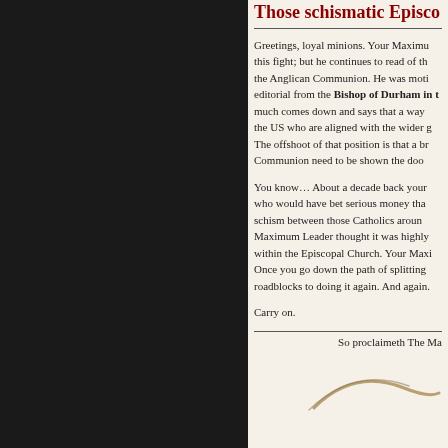Those schismatic Episco...
Greetings, loyal minions. Your Maximum Leader has wearied of this fight; but he continues to read of the goings-on within the Anglican Communion. He was motivated to write after reading an editorial from the Bishop of Durham in the Times. Wright pretty much comes down and says that a way must be found to allow those in the US who are aligned with the wider global Anglican Communion. The offshoot of that position is that a break from the Anglican Communion need to be shown the door.
You know… About a decade back your Maximum Leader was one who would have bet serious money that there would be a major schism between those Catholics around the world... Your Maximum Leader thought it was highly unlikely that there would be schism within the Episcopal Church. Your Maximum Leader was wrong. Once you go down the path of splitting a church, there are no roadblocks to doing it again. And again.
Carry on.
So proclaimeth The Ma...